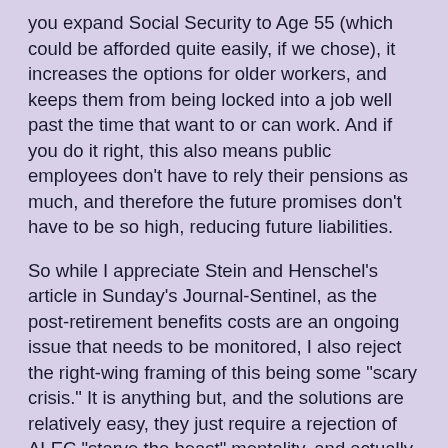you expand Social Security to Age 55 (which could be afforded quite easily, if we chose), it increases the options for older workers, and keeps them from being locked into a job well past the time that want to or can work. And if you do it right, this also means public employees don't have to rely their pensions as much, and therefore the future promises don't have to be so high, reducing future liabilities.
So while I appreciate Stein and Henschel's article in Sunday's Journal-Sentinel, as the post-retirement benefits costs are an ongoing issue that needs to be monitored, I also reject the right-wing framing of this being some "scary crisis." It is anything but, and the solutions are relatively easy, they just require a rejection of ALEC "starve the beast" mentality, and actually require an understanding that taxes do indeed have to pay for stuff. Do it right, and communities can stay stable and continue as places with a high quality of life that attracts talent.
I prefer that instead of seeing cities and other places decline, and become places where children, workers and retirees are fighting it out for a dwindling amount of resources, while the